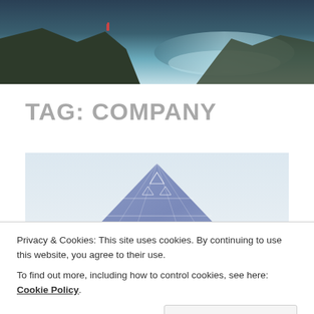[Figure (photo): Aerial photo of a person standing on a cliff overlooking a fjord or river with teal water]
TAG: COMPANY
[Figure (photo): Photo of a glass pyramid building (similar to Louvre Pyramid) seen from below against a pale sky, with a bicycle on the left side]
Privacy & Cookies: This site uses cookies. By continuing to use this website, you agree to their use.
To find out more, including how to control cookies, see here: Cookie Policy
Close and accept
[Figure (photo): Bottom strip showing people outdoors with colorful clothing and backpacks]